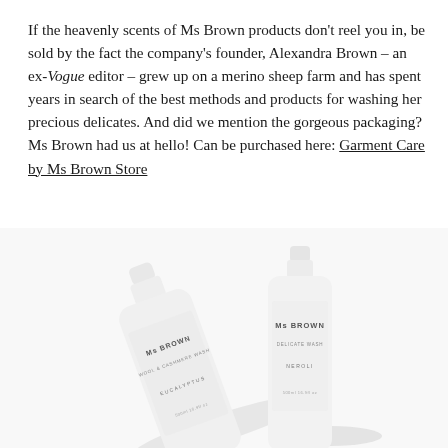If the heavenly scents of Ms Brown products don't reel you in, be sold by the fact the company's founder, Alexandra Brown – an ex-Vogue editor – grew up on a merino sheep farm and has spent years in search of the best methods and products for washing her precious delicates. And did we mention the gorgeous packaging? Ms Brown had us at hello! Can be purchased here: Garment Care by Ms Brown Store
[Figure (photo): Two white minimalist Ms Brown product bottles on a white background. Left bottle is angled/tilted and labeled 'Ms BROWN / WOOL & CASHMERE WASH / EUCALYPTUS / 500ml'. Right bottle is upright and labeled 'Ms BROWN / DELICATE WASH / NEROLI / 500ml'. Both cast soft shadows.]